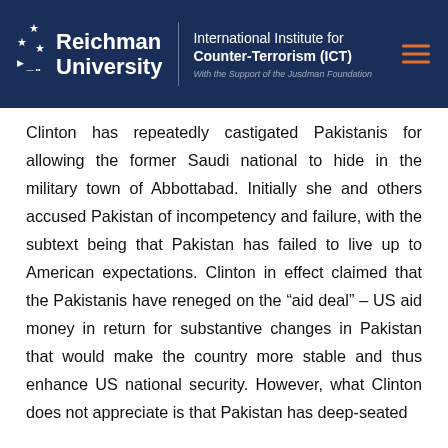Reichman University | International Institute for Counter-Terrorism (ICT) | With the Support of the Jusdman Foundation
Clinton has repeatedly castigated Pakistanis for allowing the former Saudi national to hide in the military town of Abbottabad. Initially she and others accused Pakistan of incompetency and failure, with the subtext being that Pakistan has failed to live up to American expectations. Clinton in effect claimed that the Pakistanis have reneged on the “aid deal” – US aid money in return for substantive changes in Pakistan that would make the country more stable and thus enhance US national security. However, what Clinton does not appreciate is that Pakistan has deep-seated problems that go beyond aid…